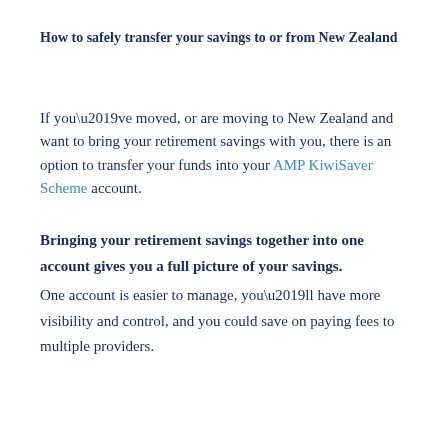How to safely transfer your savings to or from New Zealand
If you’ve moved, or are moving to New Zealand and want to bring your retirement savings with you, there is an option to transfer your funds into your AMP KiwiSaver Scheme account.
Bringing your retirement savings together into one account gives you a full picture of your savings.
One account is easier to manage, you’ll have more visibility and control, and you could save on paying fees to multiple providers.